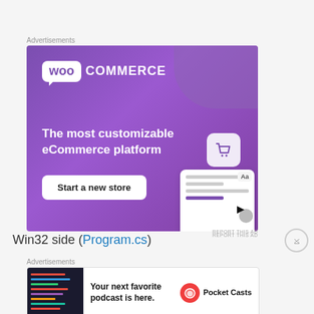Advertisements
[Figure (illustration): WooCommerce advertisement banner with purple background. Shows WooCommerce logo, text 'The most customizable eCommerce platform', a 'Start a new store' button, and a mockup of a storefront interface.]
REPORT THIS AD
Win32 side (Program.cs)
Advertisements
[Figure (illustration): Pocket Casts advertisement banner with dark app screenshot on left and text 'Your next favorite podcast is here.' with Pocket Casts logo on right.]
REPORT THIS AD